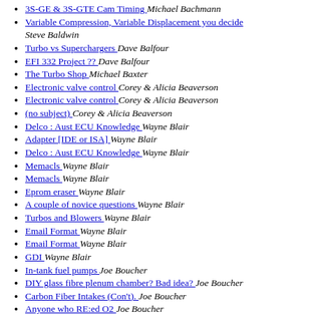3S-GE & 3S-GTE Cam Timing  Michael Bachmann
Variable Compression, Variable Displacement you decide  Steve Baldwin
Turbo vs Superchargers  Dave Balfour
EFI 332 Project ??  Dave Balfour
The Turbo Shop  Michael Baxter
Electronic valve control  Corey & Alicia Beaverson
Electronic valve control  Corey & Alicia Beaverson
(no subject)  Corey & Alicia Beaverson
Delco : Aust ECU Knowledge  Wayne Blair
Adapter [IDE or ISA]  Wayne Blair
Delco : Aust ECU Knowledge  Wayne Blair
Memacls  Wayne Blair
Memacls  Wayne Blair
Eprom eraser  Wayne Blair
A couple of novice questions  Wayne Blair
Turbos and Blowers  Wayne Blair
Email Format  Wayne Blair
Email Format  Wayne Blair
GDI  Wayne Blair
In-tank fuel pumps  Joe Boucher
DIY glass fibre plenum chamber? Bad idea?  Joe Boucher
Carbon Fiber Intakes (Con't).  Joe Boucher
Anyone who RE:ed O2  Joe Boucher
Adapter [IDE or ISA]  Joe Boucher